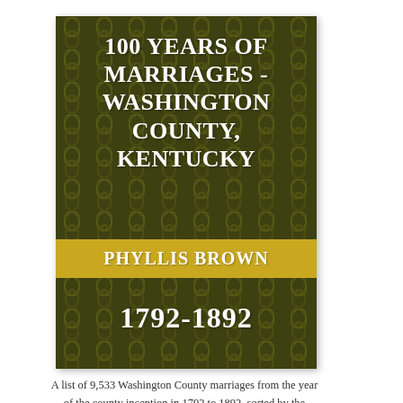[Figure (illustration): Book cover with dark olive/green background featuring a decorative leaf/floral pattern. Title '100 YEARS OF MARRIAGES - WASHINGTON COUNTY, KENTUCKY' in white bold text at top. A gold/yellow horizontal band in the middle displays 'PHYLLIS BROWN' in white. Below the band, '1792-1892' appears in large white text.]
A list of 9,533 Washington County marriages from the year of the county inception in 1792 to 1892, sorted by the grooms' last names. Includes name of groom, name of bride and date.